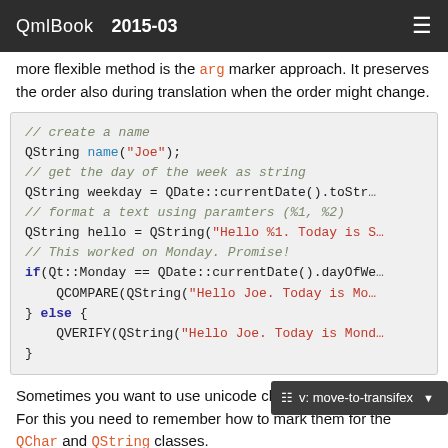QmlBook 2015-03
more flexible method is the arg marker approach. It preserves the order also during translation when the order might change.
[Figure (screenshot): Code block showing QML/Qt string formatting example with comments, QString, QDate, if/else, QCOMPARE and QVERIFY statements]
Sometimes you want to use unicode characters in you code. For this you need to remember how to mark them for the QChar and QString classes.